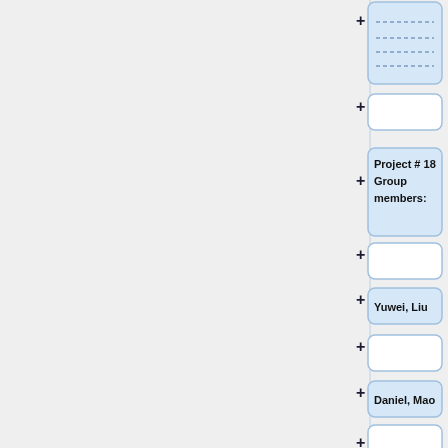[Figure (flowchart): Vertical flowchart/tree structure showing document outline nodes with plus signs. Nodes contain: dashed lines (collapsed content), empty boxes, 'Project # 18 Group members:', empty box, 'Yuwei, Liu', empty box, 'Daniel, Mao', empty box, 'Title: Sartorius - Cell Instance Segmentation (Kaggle)'. Left panel is grey, right panel shows the nodes connected vertically.]